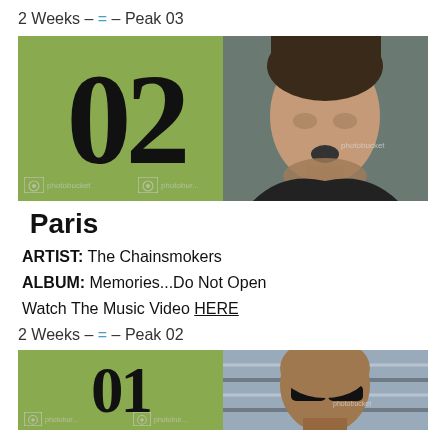2 Weeks – = – Peak 03
[Figure (photo): Album art for rank #02 showing large '02' numeral on olive green background (left half) and a young male artist's face (right half), with photobucket watermarks]
Paris
ARTIST: The Chainsmokers
ALBUM: Memories...Do Not Open
Watch The Music Video HERE
2 Weeks – = – Peak 02
[Figure (photo): Album art for rank #01 showing large '01' numeral on olive green background (left half) and a bald male artist wearing sunglasses (right half), with photobucket watermarks — partially cut off at bottom of page]